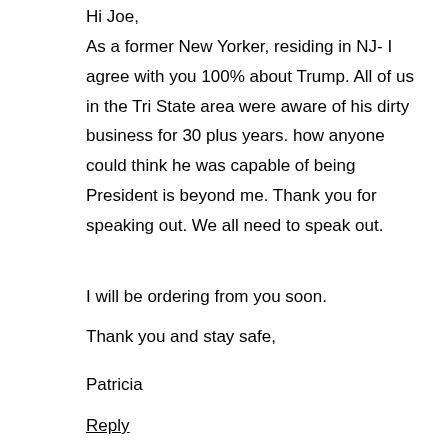Hi Joe,
As a former New Yorker, residing in NJ- I agree with you 100% about Trump. All of us in the Tri State area were aware of his dirty business for 30 plus years. how anyone could think he was capable of being President is beyond me. Thank you for speaking out. We all need to speak out.
I will be ordering from you soon.
Thank you and stay safe,
Patricia
Reply